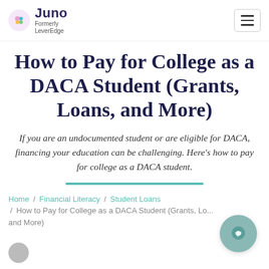Juno — Formerly LeverEdge
How to Pay for College as a DACA Student (Grants, Loans, and More)
If you are an undocumented student or are eligible for DACA, financing your education can be challenging. Here's how to pay for college as a DACA student.
Home / Financial Literacy / Student Loans / How to Pay for College as a DACA Student (Grants, Lo... and More)